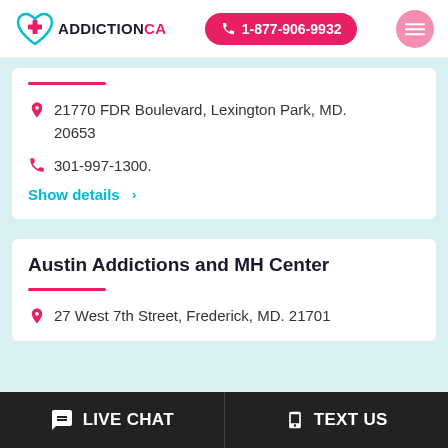[Figure (logo): AddictionCA logo with teal heart and red cross icon, text reads ADDICTIONCA]
1-877-906-9932
21770 FDR Boulevard, Lexington Park, MD. 20653
301-997-1300.
Show details >
Austin Addictions and MH Center
27 West 7th Street, Frederick, MD. 21701
LIVE CHAT
TEXT US